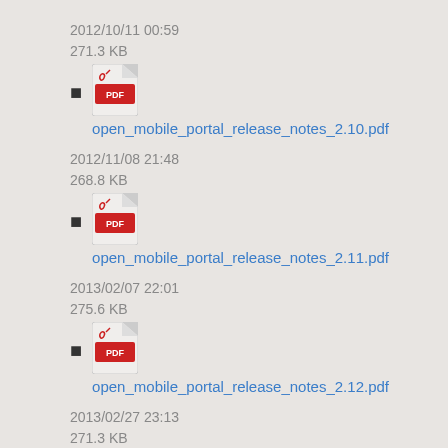2012/10/11 00:59
271.3 KB
open_mobile_portal_release_notes_2.10.pdf
2012/11/08 21:48
268.8 KB
open_mobile_portal_release_notes_2.11.pdf
2013/02/07 22:01
275.6 KB
open_mobile_portal_release_notes_2.12.pdf
2013/02/27 23:13
271.3 KB